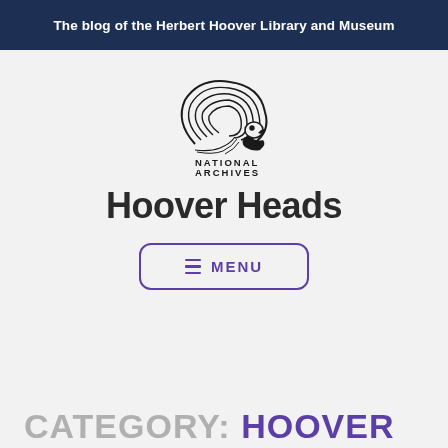The blog of the Herbert Hoover Library and Museum
[Figure (logo): National Archives logo — stylized eagle/wave illustration with text 'NATIONAL ARCHIVES' below]
Hoover Heads
≡ MENU
CATEGORY: HOOVER